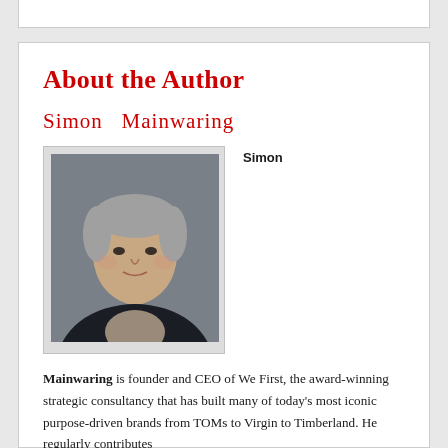About the Author
Simon  Mainwaring
[Figure (photo): Portrait photo of Simon Mainwaring, a man with grey hair wearing a dark jacket, posed against a grey background. Label 'Simon' appears to the right of the photo.]
Mainwaring is founder and CEO of We First, the award-winning strategic consultancy that has built many of today's most iconic purpose-driven brands from TOMs to Virgin to Timberland. He regularly contributes